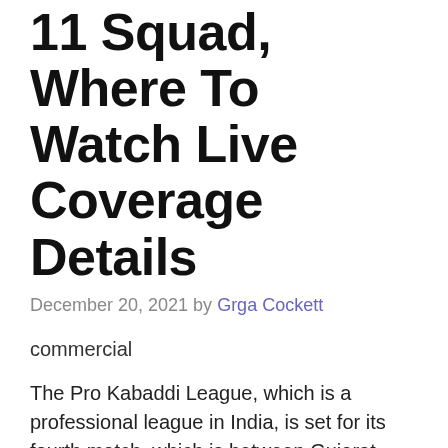11 Squad, Where To Watch Live Coverage Details
December 20, 2021 by Grga Cockett
commercial
The Pro Kabaddi League, which is a professional league in India, is set for its fourth match, which is between Gujarat Giants vs Pink Panthers. The team is ready to meet on December 23, 2021 at 7:30 pm IST. Check the Gujarat Giants vs Pink Panthers game 4 prediction.